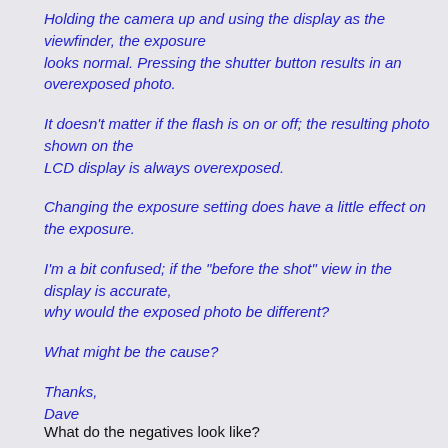Holding the camera up and using the display as the viewfinder, the exposure looks normal. Pressing the shutter button results in an overexposed photo.
It doesn't matter if the flash is on or off; the resulting photo shown on the LCD display is always overexposed.
Changing the exposure setting does have a little effect on the exposure.
I'm a bit confused; if the "before the shot" view in the display is accurate, why would the exposed photo be different?
What might be the cause?
Thanks,
Dave
What do the negatives look like?